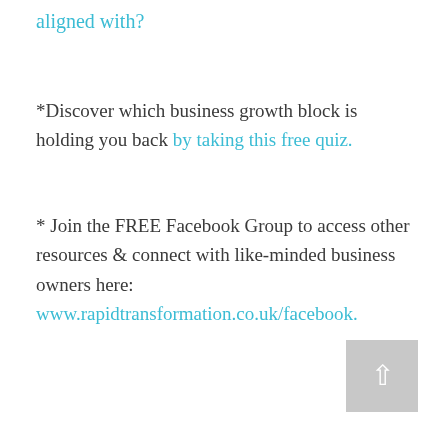aligned with?
*Discover which business growth block is holding you back by taking this free quiz.
* Join the FREE Facebook Group to access other resources & connect with like-minded business owners here: www.rapidtransformation.co.uk/facebook.